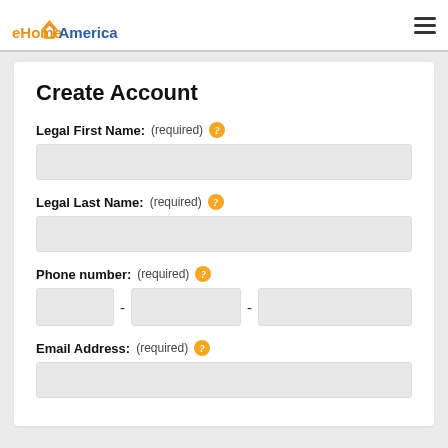eHomeAmerica
Create Account
Legal First Name: (required)
Legal Last Name: (required)
Phone number: (required)
Email Address: (required)